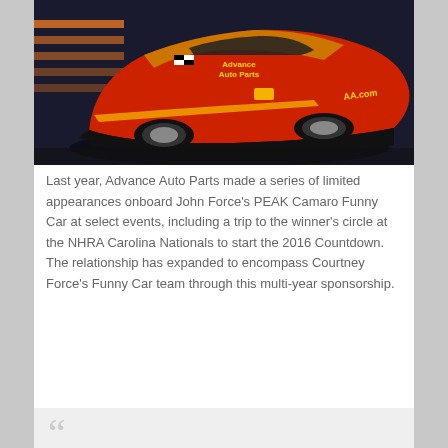[Figure (photo): Red and black Advance Auto Parts NHRA Funny Car (Camaro body) displayed indoors on a dark background with orange sponsor banners]
Last year, Advance Auto Parts made a series of limited appearances onboard John Force's PEAK Camaro Funny Car at select events, including a trip to the winner's circle at the NHRA Carolina Nationals to start the 2016 Countdown. The relationship has expanded to encompass Courtney Force's Funny Car team through this multi-year sponsorship.
[Figure (other): Opening quotation mark graphic at the bottom of the page, indicating a pull quote section]